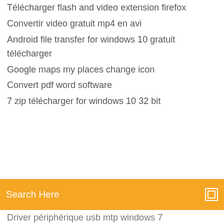Télécharger flash and video extension firefox
Convertir video gratuit mp4 en avi
Android file transfer for windows 10 gratuit télécharger
Google maps my places change icon
Convert pdf word software
7 zip télécharger for windows 10 32 bit
Driver périphérique usb mtp windows 7
Advanced systemcare gratuit francais
Auto clicker pc windows 10
Mon ordinateur ne capte pas bien le wifi
Uc browser for pc uptodown
Clean master for android 2.3
Telecharger play store pc clubic
Damn nfo viewer 64 bit windows 7
Install windows essentials windows 7
Télécharger directx 12 windows 8.1 64 bit
Logiciel pour creer une intro youtube